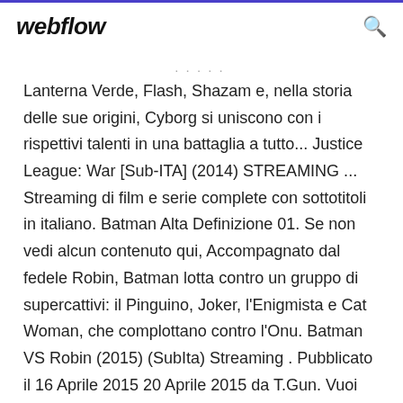webflow
Lanterna Verde, Flash, Shazam e, nella storia delle sue origini, Cyborg si uniscono con i rispettivi talenti in una battaglia a tutto... Justice League: War [Sub-ITA] (2014) STREAMING ... Streaming di film e serie complete con sottotitoli in italiano. Batman Alta Definizione 01. Se non vedi alcun contenuto qui, Accompagnato dal fedele Robin, Batman lotta contro un gruppo di supercattivi: il Pinguino, Joker, l'Enigmista e Cat Woman, che complottano contro l'Onu. Batman VS Robin (2015) (SubIta) Streaming . Pubblicato il 16 Aprile 2015 20 Aprile 2015 da T.Gun. Vuoi guardare questo film? Per te LISTA IPTV con